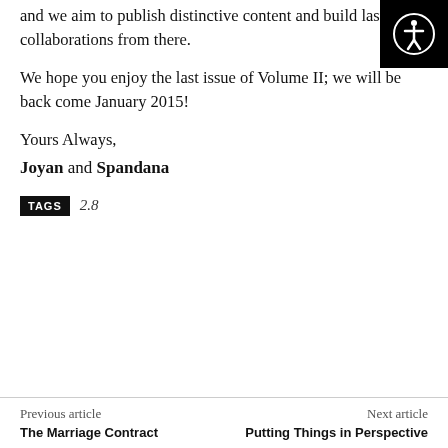and we aim to publish distinctive content and build lasting collaborations from there.
We hope you enjoy the last issue of Volume II; we will be back come January 2015!
Yours Always,
Joyan and Spandana
TAGS  2.8
Previous article
The Marriage Contract
Next article
Putting Things in Perspective